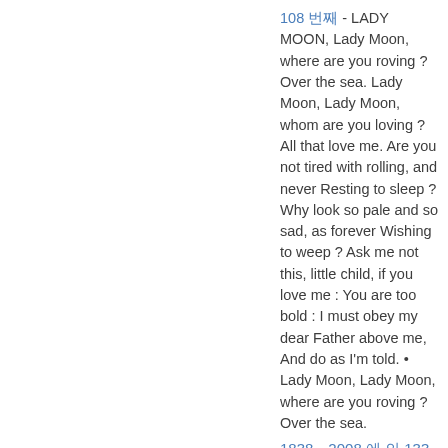108 번째 - LADY MOON, Lady Moon, where are you roving ? Over the sea. Lady Moon, Lady Moon, whom are you loving ? All that love me. Are you not tired with rolling, and never Resting to sleep ? Why look so pale and so sad, as forever Wishing to weep ? Ask me not this, little child, if you love me : You are too bold : I must obey my dear Father above me, And do as I'm told. • Lady Moon, Lady Moon, where are you roving ? Over the sea.
1838–2008 에 의 133 항목이있습니다 됩니다